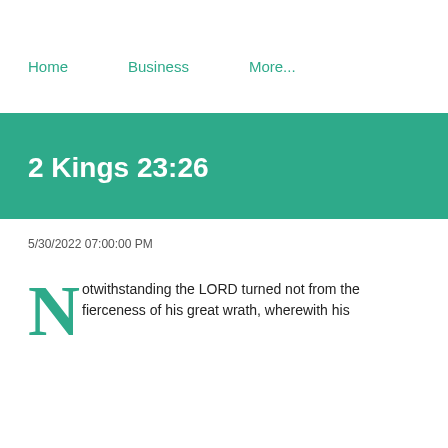Home    Business    More...
2 Kings 23:26
5/30/2022 07:00:00 PM
Notwithstanding the LORD turned not from the fierceness of his great wrath, wherewith his